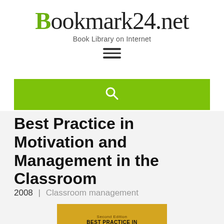Bookmark24.net — Book Library on Internet
Best Practice in Motivation and Management in the Classroom
2008 | Classroom management
[Figure (photo): Partial view of a book cover with yellow/gold background showing 'Second Edition' and 'BEST PRACTICE IN...' text]